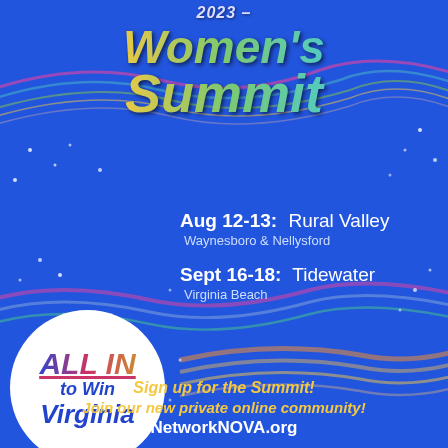Women's Summit
Aug 12-13: Rural Valley
Waynesboro & Nellysford
Sept 16-18: Tidewater
Virginia Beach
[Figure (infographic): White circle badge with 'ALL IN to Win Virginia' text in colorful italic font]
Sign up for the Summit!
Join our new private online community!
NetworkNOVA.org